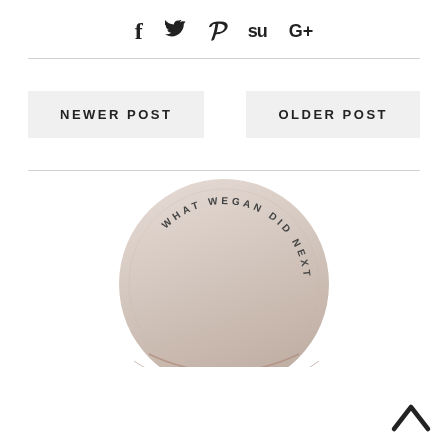[Figure (infographic): Social share icons: Facebook (f), Twitter (bird), Pinterest (P), StumbleUpon (Su), Google+ (G+)]
NEWER POST
OLDER POST
[Figure (photo): Circular blog logo photo showing two blonde women kissing, with curved text reading 'WHAT WEGAN DID NEXT' around the circle, with decorative script overlay]
[Figure (other): Back to top arrow chevron button in bottom right corner]